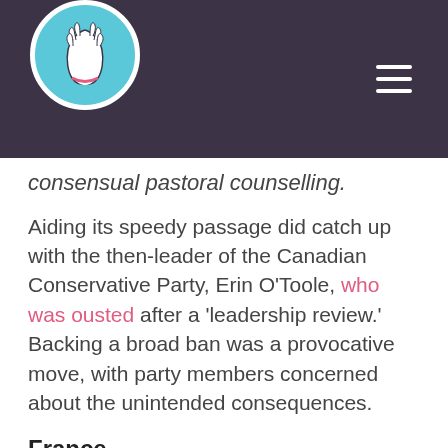[Logo: praying hands icon] [Hamburger menu]
consensual pastoral counselling.
Aiding its speedy passage did catch up with the then-leader of the Canadian Conservative Party, Erin O'Toole, who was ousted after a 'leadership review.' Backing a broad ban was a provocative move, with party members concerned about the unintended consequences.
France
French politicians also offered speedy passage to a ban on conversion therapy. It defines conversion therapy as: "practices, behaviour or repeated comments aimed at modifying or